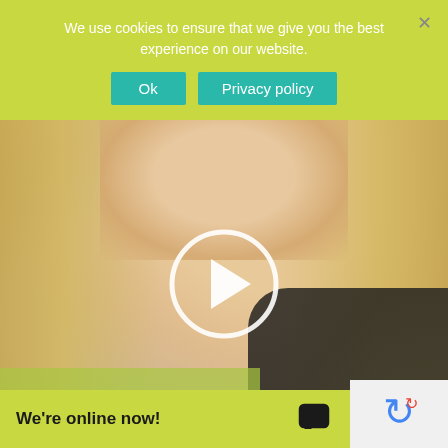We use cookies to ensure that we give you the best experience on our website.
Ok
Privacy policy
[Figure (photo): Screenshot of a website with a cookie consent banner over a photo of a smiling blonde woman holding her hand near her chin, wearing a black top and a bracelet. A video play button overlay is visible in the center of the photo.]
We're online now!